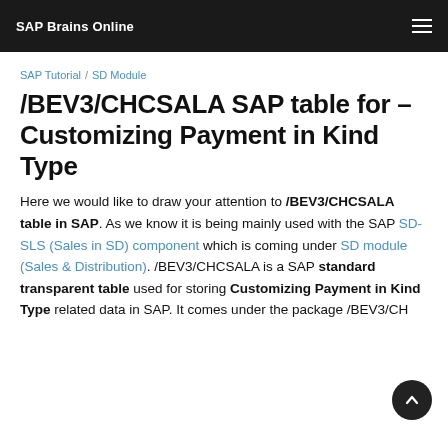SAP Brains Online
SAP Tutorial / SD Module
/BEV3/CHCSALA SAP table for – Customizing Payment in Kind Type
Here we would like to draw your attention to /BEV3/CHCSALA table in SAP. As we know it is being mainly used with the SAP SD-SLS (Sales in SD) component which is coming under SD module (Sales & Distribution). /BEV3/CHCSALA is a SAP standard transparent table used for storing Customizing Payment in Kind Type related data in SAP. It comes under the package /BEV3/CH